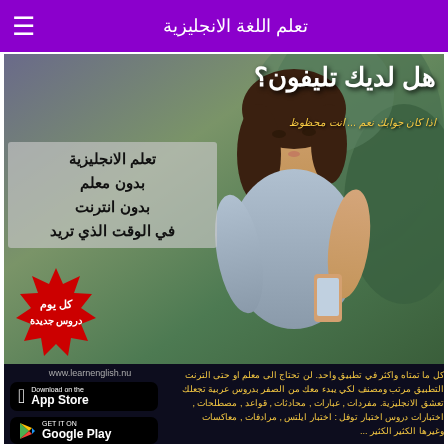تعلم اللغة الانجليزية
[Figure (infographic): Arabic language learning app advertisement poster featuring a young woman looking at her phone, with Arabic promotional text overlay, starburst badge saying 'كل يوم دروس جديدة' (New lessons every day), App Store and Google Play download buttons, and Arabic body text about the app features]
هل لديك تليفون؟
اذا كان جوابك نعم ... انت محظوظ
تعلم الانجليزية
بدون معلم
بدون انترنت
في الوقت الذي تريد
كل يوم
دروس جديدة
www.learnenglish.nu
Download on the
App Store
GET IT ON
Google Play
كل ما تمتاه واكثر في تطبيق واحد. لن تحتاج الى معلم او حتى الترنت التطبيق مرتب ومصنف لكي يبدء معك من الصفر بدروس عربية تجعلك تعشق الانجليزية. مفردات , عبارات , محادثات , قواعد , مصطلحات , اختبارات دروس اختبار توفل : اختبار ايلتس , مرادفات , معاكسات وغيرها الكثير الكثير ...